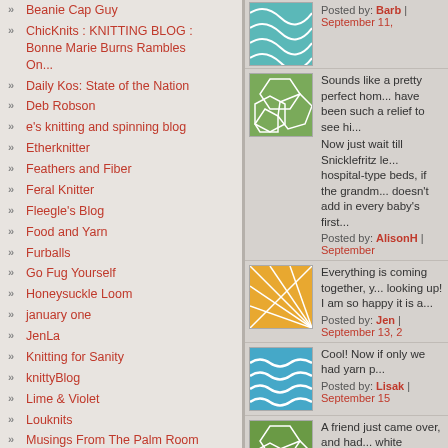Beanie Cap Guy
ChicKnits : KNITTING BLOG : Bonne Marie Burns Rambles On...
Daily Kos: State of the Nation
Deb Robson
e's knitting and spinning blog
Etherknitter
Feathers and Fiber
Feral Knitter
Fleegle's Blog
Food and Yarn
Furballs
Go Fug Yourself
Honeysuckle Loom
january one
JenLa
Knitting for Sanity
knittyBlog
Lime & Violet
Louknits
Musings From The Palm Room
Natural Dye Journal
Needle Beetle Girl
Nuttinbutknittin
Pink Tea
rosemary-go-round
Posted by: Barb | September 11,
Sounds like a pretty perfect hom... have been such a relief to see hi...
Now just wait till Snicklefritz le... hospital-type beds, if the grandm... doesn't add in every baby's first...
Posted by: AlisonH | September
Everything is coming together, y... looking up! I am so happy it is a...
Posted by: Jen | September 13, 2
Cool! Now if only we had yarn p...
Posted by: Lisak | September 15
A friend just came over, and had... white backside of an old quilt o... be a hint, but I thought I'd pass t... color!
Posted by: AlisonH | September
I'm glad you found a home for y...